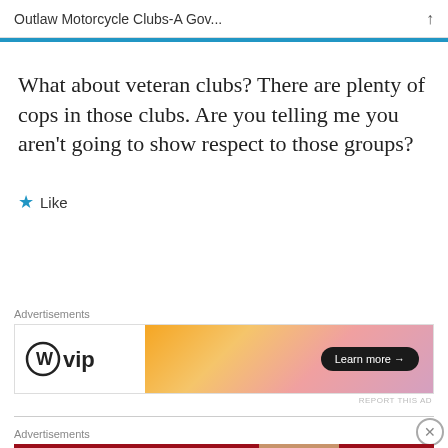Outlaw Motorcycle Clubs-A Gov...
What about veteran clubs? There are plenty of cops in those clubs. Are you telling me you aren't going to show respect to those groups?
[Figure (other): Like button with blue star icon]
Advertisements
[Figure (other): WordPress VIP advertisement banner with Learn more button]
Advertisements
[Figure (other): Macy's advertisement: KISS BORING LIPS GOODBYE with SHOP NOW button and star logo]